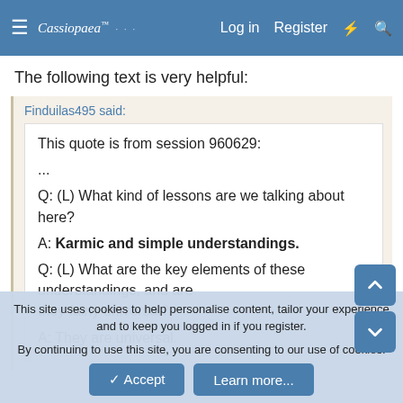Log in   Register
The following text is very helpful:
Finduilas495 said:
This quote is from session 960629:
...
Q: (L) What kind of lessons are we talking about here?
A: Karmic and simple understandings.
Q: (L) What are the key elements of these understandings, and are they fairly universal?
A: They are universal.
This site uses cookies to help personalise content, tailor your experience and to keep you logged in if you register.
By continuing to use this site, you are consenting to our use of cookies.